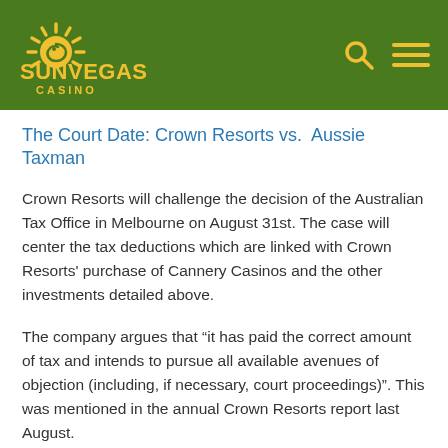[Figure (logo): SunVegas Casino logo with sun/swirl emblem in yellow on green background header, with search and menu icons on the right]
The Court Date: Crown Resorts vs. Aussie Taxman
Crown Resorts will challenge the decision of the Australian Tax Office in Melbourne on August 31st. The case will center the tax deductions which are linked with Crown Resorts’ purchase of Cannery Casinos and the other investments detailed above.
The company argues that “it has paid the correct amount of tax and intends to pursue all available avenues of objection (including, if necessary, court proceedings)”. This was mentioned in the annual Crown Resorts report last August.